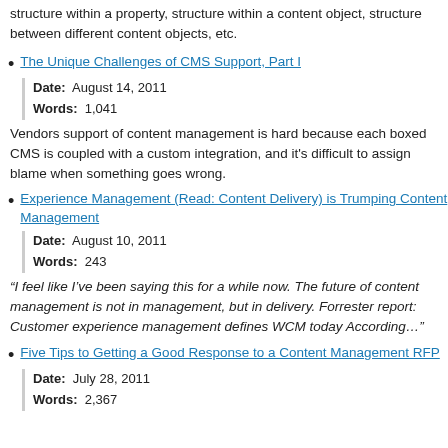structure within a property, structure within a content object, structure between different content objects, etc.
The Unique Challenges of CMS Support, Part I
Date: August 14, 2011
Words: 1,041
Vendors support of content management is hard because each boxed CMS is coupled with a custom integration, and it's difficult to assign blame when something goes wrong.
Experience Management (Read: Content Delivery) is Trumping Content Management
Date: August 10, 2011
Words: 243
“I feel like I’ve been saying this for a while now. The future of content management is not in management, but in delivery. Forrester report: Customer experience management defines WCM today According…”
Five Tips to Getting a Good Response to a Content Management RFP
Date: July 28, 2011
Words: 2,367